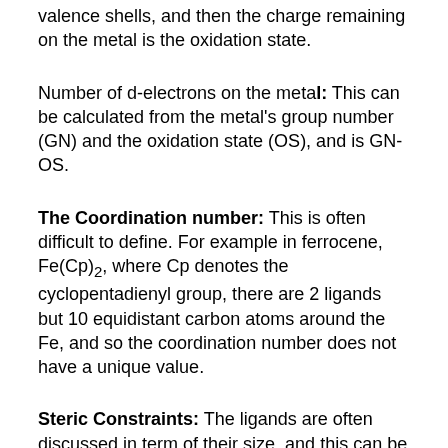valence shells, and then the charge remaining on the metal is the oxidation state.
Number of d-electrons on the metal: This can be calculated from the metal's group number (GN) and the oxidation state (OS), and is GN-OS.
The Coordination number: This is often difficult to define. For example in ferrocene, Fe(Cp)2, where Cp denotes the cyclopentadienyl group, there are 2 ligands but 10 equidistant carbon atoms around the Fe, and so the coordination number does not have a unique value.
Steric Constraints: The ligands are often discussed in term of their size, and this can be defined by Tolman's cone angle. This is the solid angle subtended at the metal when a cone is drawn